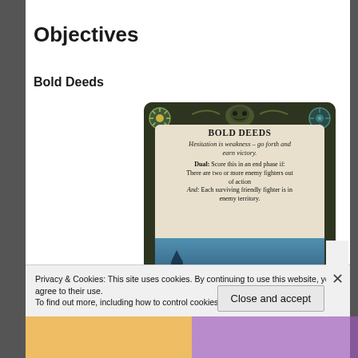Objectives
Bold Deeds
[Figure (illustration): A game card titled 'Bold Deeds' with ornamental dark green border, two faction icons in top corners, flavor text 'Hesitation is weakness – go forth and earn victory.', rules text 'Dual: Score this in an end phase if: There are two or more enemy fighters out of action And: Each surviving friendly fighter is in enemy territory.', and art showing a warrior figure at bottom.]
Privacy & Cookies: This site uses cookies. By continuing to use this website, you agree to their use.
To find out more, including how to control cookies, see here: Cookie Policy
Close and accept